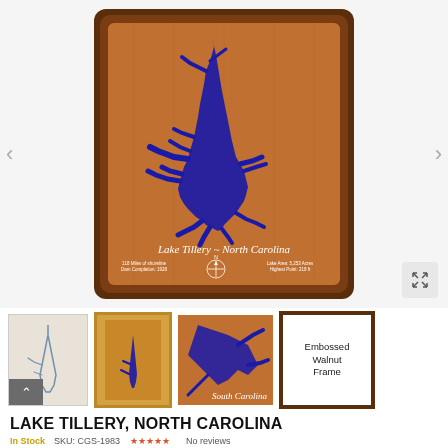[Figure (photo): Main product photo: a wooden plaque with blue engraved lake map of Lake Tillery, North Carolina, with walnut frame and compass rose detail. Text on plaque reads 'Lake Tillery ~ North Carolina' with lake stats.]
[Figure (photo): Thumbnail 1: small outline map of lake on light background]
[Figure (photo): Thumbnail 2: engraved lake map on wooden plaque with gold frame]
[Figure (photo): Thumbnail 3: close-up copper background with blue engraved lake and text 'South Carolina']
[Figure (photo): Thumbnail 4: 'Embossed Walnut Frame' text with walnut frame sample image]
LAKE TILLERY, NORTH CAROLINA
In Stock   SKU: CGS-1983   No reviews